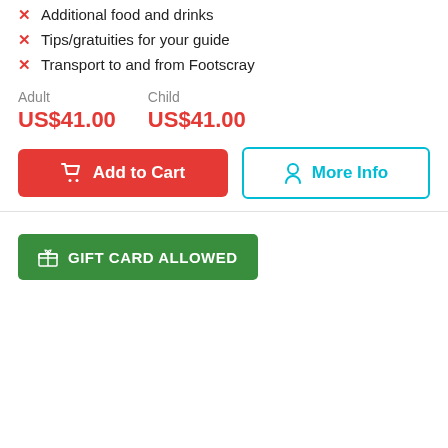Additional food and drinks
Tips/gratuities for your guide
Transport to and from Footscray
Adult  US$41.00   Child  US$41.00
Add to Cart   More Info
GIFT CARD ALLOWED